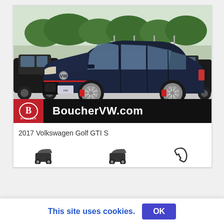[Figure (photo): A dark blue Volkswagen Golf GTI S parked in a dealer lot. Black SUV on the left, black pickup truck on the right, trees in background. Boucher VW dealer branding bar at the bottom with red Boucher logo and white text 'BoucherVW.com' on black background.]
2017 Volkswagen Golf GTI S
[Figure (other): Row of icons: two car silhouette icons and a phone/handset icon, representing quick-action buttons on an auto listing page.]
This site uses cookies.
OK